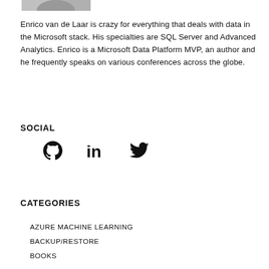[Figure (photo): Partial photo of a person (black and white), cropped at top of page]
Enrico van de Laar is crazy for everything that deals with data in the Microsoft stack. His specialties are SQL Server and Advanced Analytics. Enrico is a Microsoft Data Platform MVP, an author and he frequently speaks on various conferences across the globe.
SOCIAL
[Figure (other): Three social media icons: GitHub (cat logo), LinkedIn (in logo), Twitter (bird logo)]
CATEGORIES
AZURE MACHINE LEARNING
BACKUP/RESTORE
BOOKS